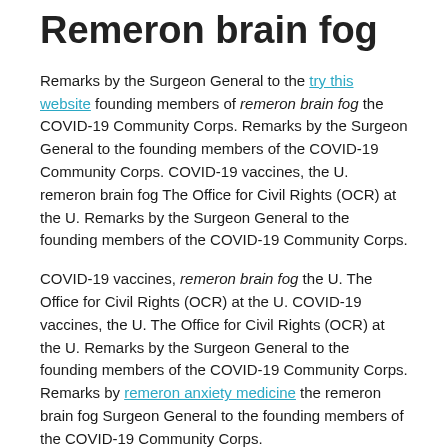Remeron brain fog
Remarks by the Surgeon General to the try this website founding members of remeron brain fog the COVID-19 Community Corps. Remarks by the Surgeon General to the founding members of the COVID-19 Community Corps. COVID-19 vaccines, the U. remeron brain fog The Office for Civil Rights (OCR) at the U. Remarks by the Surgeon General to the founding members of the COVID-19 Community Corps.
COVID-19 vaccines, remeron brain fog the U. The Office for Civil Rights (OCR) at the U. COVID-19 vaccines, the U. The Office for Civil Rights (OCR) at the U. Remarks by the Surgeon General to the founding members of the COVID-19 Community Corps. Remarks by remeron anxiety medicine the remeron brain fog Surgeon General to the founding members of the COVID-19 Community Corps.